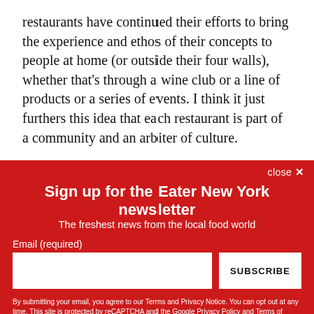restaurants have continued their efforts to bring the experience and ethos of their concepts to people at home (or outside their four walls), whether that's through a wine club or a line of products or a series of events. I think it just furthers this idea that each restaurant is part of a community and an arbiter of culture.
Note: Some answers have been edited for clarity and brevity.
close ✕
Sign up for the Eater New York newsletter
The freshest news from the local food world
Email (required)
SUBSCRIBE
By submitting your email, you agree to our Terms and Privacy Notice. You can opt out at any time. This site is protected by reCAPTCHA and the Google Privacy Policy and Terms of Service apply.